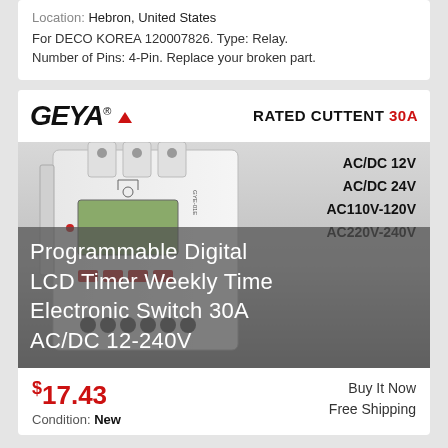Location: Hebron, United States
For DECO KOREA 120007826. Type: Relay. Number of Pins: 4-Pin. Replace your broken part.
[Figure (photo): GEYA branded programmable digital LCD timer weekly time electronic switch 30A AC/DC 12-240V product listing image with voltage options AC/DC 12V, AC/DC 24V, AC110V-120V, AC220V-240V listed on right side]
$17.43
Condition: New
Buy It Now
Free Shipping